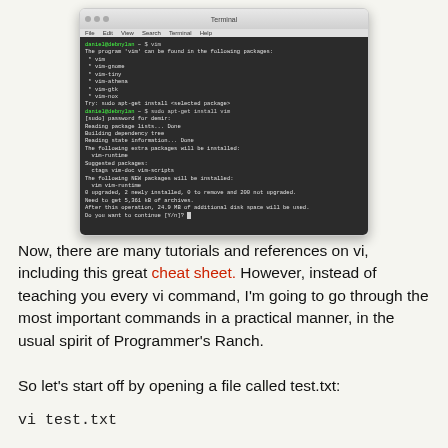[Figure (screenshot): Terminal window showing vim installation via apt-get on a dark-themed terminal. The terminal shows the user running 'vim', seeing package suggestions, then running 'sudo apt-get install vim', entering a password, and seeing package installation details including 'Do you want to continue [Y/n]?']
Now, there are many tutorials and references on vi, including this great cheat sheet. However, instead of teaching you every vi command, I'm going to go through the most important commands in a practical manner, in the usual spirit of Programmer's Ranch.
So let's start off by opening a file called test.txt: